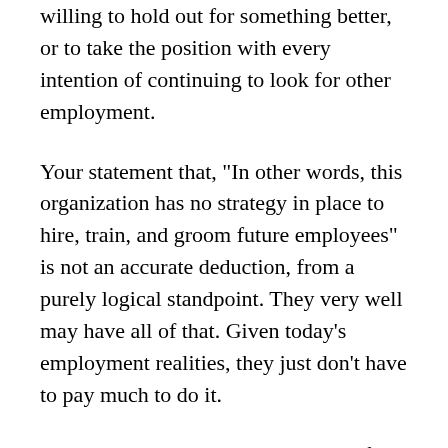willing to hold out for something better, or to take the position with every intention of continuing to look for other employment.
Your statement that, "In other words, this organization has no strategy in place to hire, train, and groom future employees" is not an accurate deduction, from a purely logical standpoint. They very well may have all of that. Given today’s employment realities, they just don’t have to pay much to do it.
And while you accuse the business of ‘taking advantage’ of your son in order to avoid taxes, he DID gain the benefit of experience that he can leverage more broadly, so it is not entirely one-sided, is it?